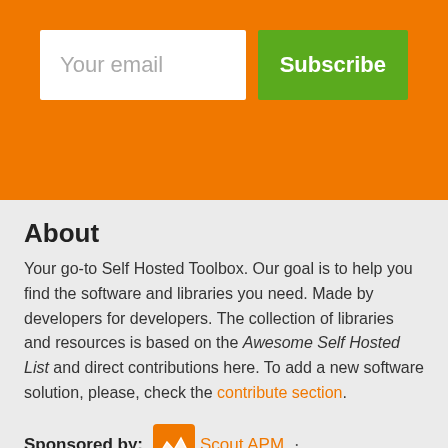[Figure (other): Orange banner with email input field labeled 'Your email' and a green 'Subscribe' button]
About
Your go-to Self Hosted Toolbox. Our goal is to help you find the software and libraries you need. Made by developers for developers. The collection of libraries and resources is based on the Awesome Self Hosted List and direct contributions here. To add a new software solution, please, check the contribute section.
Sponsored by: Scout APM · SonarLint · SaaSHub · Advertise
More from LibHunt